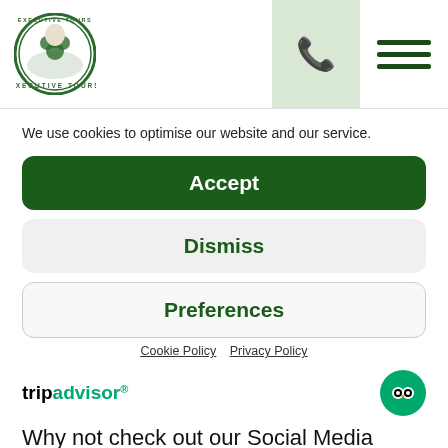[Figure (logo): Executive Tours circular logo with shamrock and eagle, green color]
We use cookies to optimise our website and our service.
Accept
Dismiss
Preferences
Cookie Policy  Privacy Policy
[Figure (logo): TripAdvisor logo with owl icon]
Why not check out our Social Media Page too for